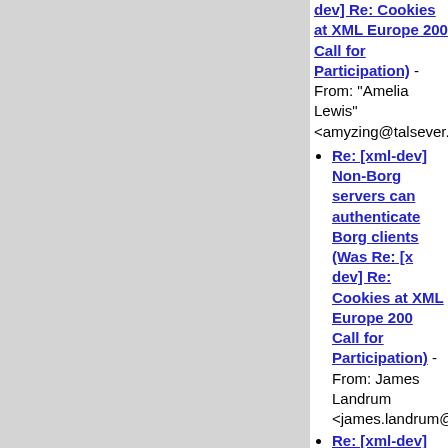Re: [xml-dev] Non-Borg servers can authenticate Borg clients (Was Re: [xml-dev] Re: Cookies at XML Europe 2000 Call for Participation) - From: "Amelia Lewis" <amyzing@talsever.com>
Re: [xml-dev] Non-Borg servers can authenticate Borg clients (Was Re: [xml-dev] Re: Cookies at XML Europe 2000 Call for Participation) - From: James Landrum <james.landrum@ndsu.nodak.edu>
Re: [xml-dev] Non-Borg servers can authenticate Borg clients (Was Re: [xml-dev] Re: Cookies at XML Europe 2000 Call for Participation) - From: Rich Salz <rsalz@datapower.com>
Re: [xml-dev] Non-Borg servers can authenticate Borg clients (Was Re: [xml-dev] Re: Cookies at XML Europe 2000 Call for Participation) - From: Elliotte Rusty Harold <elharo@metalab.unc.edu>
Re: [xml-dev] Non-Borg servers can authenticate Borg clients (WasRe: [xml-dev] Re: Cookies at XML Europe 2000 Call for Participation) - From: James Landrum <james.landrum@ndsu.nodak.edu>